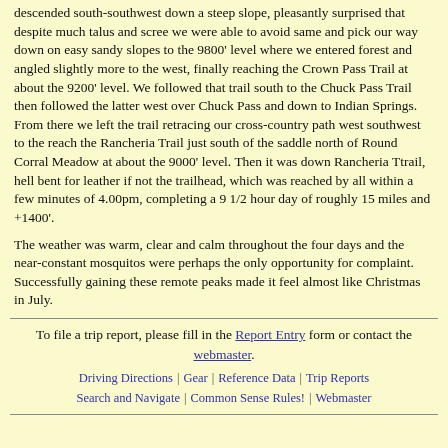descended south-southwest down a steep slope, pleasantly surprised that despite much talus and scree we were able to avoid same and pick our way down on easy sandy slopes to the 9800' level where we entered forest and angled slightly more to the west, finally reaching the Crown Pass Trail at about the 9200' level. We followed that trail south to the Chuck Pass Trail then followed the latter west over Chuck Pass and down to Indian Springs. From there we left the trail retracing our cross-country path west southwest to the reach the Rancheria Trail just south of the saddle north of Round Corral Meadow at about the 9000' level. Then it was down Rancheria Ttrail, hell bent for leather if not the trailhead, which was reached by all within a few minutes of 4.00pm, completing a 9 1/2 hour day of roughly 15 miles and +1400'.
The weather was warm, clear and calm throughout the four days and the near-constant mosquitos were perhaps the only opportunity for complaint. Successfully gaining these remote peaks made it feel almost like Christmas in July.
To file a trip report, please fill in the Report Entry form or contact the webmaster.
Driving Directions | Gear | Reference Data | Trip Reports | Search and Navigate | Common Sense Rules! | Webmaster